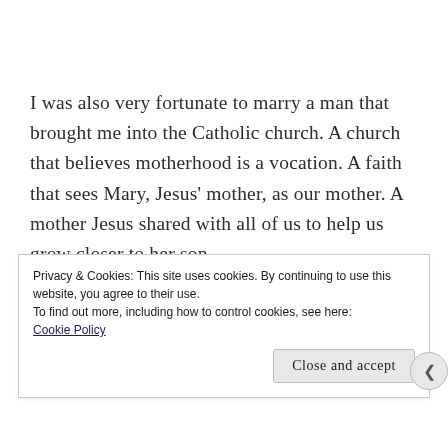I was also very fortunate to marry a man that brought me into the Catholic church. A church that believes motherhood is a vocation. A faith that sees Mary, Jesus' mother, as our mother. A mother Jesus shared with all of us to help us grow closer to her son.
It was as a young Catholic mom that I first learned
Privacy & Cookies: This site uses cookies. By continuing to use this website, you agree to their use.
To find out more, including how to control cookies, see here:
Cookie Policy
Close and accept